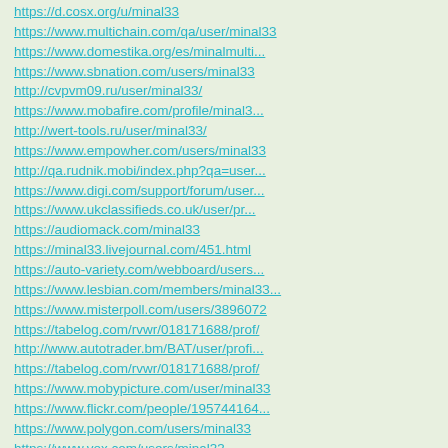https://d.cosx.org/u/minal33
https://www.multichain.com/qa/user/minal33
https://www.domestika.org/es/minalmulti...
https://www.sbnation.com/users/minal33
http://cvpvm09.ru/user/minal33/
https://www.mobafire.com/profile/minal3...
http://wert-tools.ru/user/minal33/
https://www.empowher.com/users/minal33
http://qa.rudnik.mobi/index.php?qa=user...
https://www.digi.com/support/forum/user...
https://www.ukclassifieds.co.uk/user/pr...
https://audiomack.com/minal33
https://minal33.livejournal.com/451.html
https://auto-variety.com/webboard/users...
https://www.lesbian.com/members/minal33...
https://www.misterpoll.com/users/3896072
https://tabelog.com/rvwr/018171688/prof/
http://www.autotrader.bm/BAT/user/profi...
https://tabelog.com/rvwr/018171688/prof/
https://www.mobypicture.com/user/minal33
https://www.flickr.com/people/195744164...
https://www.polygon.com/users/minal33
https://www.vox.com/users/minal33